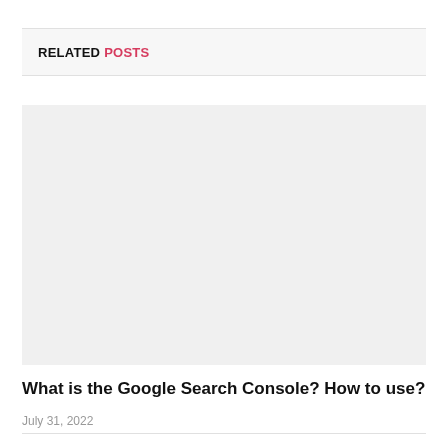RELATED POSTS
[Figure (photo): Image placeholder for related post thumbnail]
What is the Google Search Console? How to use?
July 31, 2022